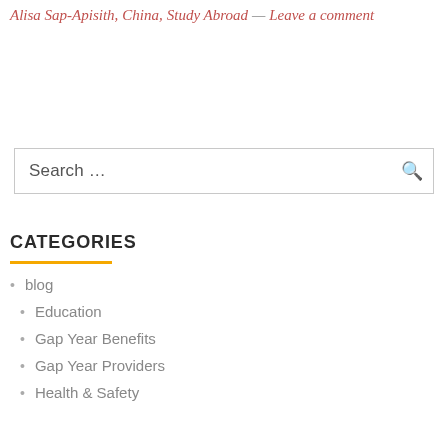Alisa Sap-Apisith, China, Study Abroad — Leave a comment
Search …
CATEGORIES
blog
Education
Gap Year Benefits
Gap Year Providers
Health & Safety